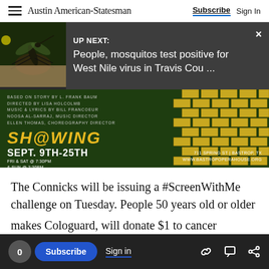Austin American-Statesman | Subscribe  Sign In
[Figure (screenshot): UP NEXT banner with mosquito image: 'People, mosquitos test positive for West Nile virus in Travis Cou ...']
[Figure (photo): Advertisement for Bastrop Opera House show. Based on story by L. Frank Baum. Directed by Lisa Holcolmb. Music & Lyrics by Bill Francoeur. Noosa Al-Sarraj, Music Director. Ellen Thomas, Choreography Director. SHOWING SEPT. 9TH-25TH FRI & SAT @ 7:30PM & SUN @ 2:30PM. 711 Spring St | Bastrop, TX. www.bastropoperahouse.org]
The Connicks will be issuing a #ScreenWithMe challenge on Tuesday. People 50 years old or older can pledge to get screened, then invite three of their friends to get screened. For
0  Subscribe  Sign in
makes Cologuard, will donate $1 to cancer